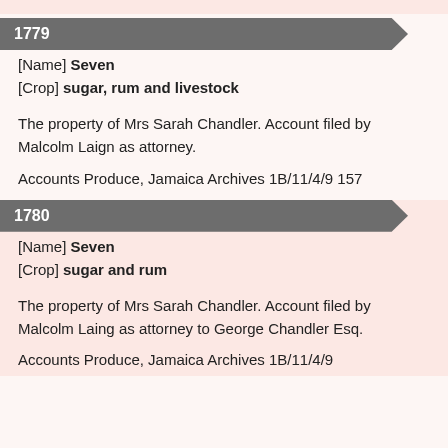1779
[Name] Seven
[Crop] sugar, rum and livestock
The property of Mrs Sarah Chandler. Account filed by Malcolm Laign as attorney.
Accounts Produce, Jamaica Archives 1B/11/4/9 157
1780
[Name] Seven
[Crop] sugar and rum
The property of Mrs Sarah Chandler. Account filed by Malcolm Laing as attorney to George Chandler Esq.
Accounts Produce, Jamaica Archives 1B/11/4/9